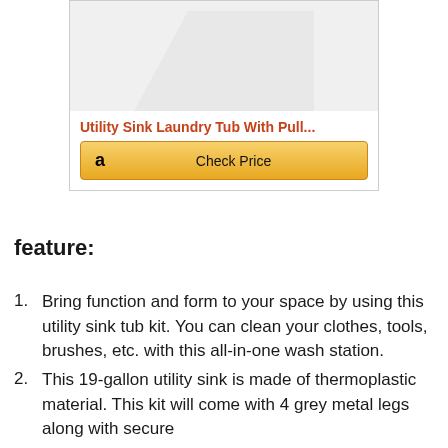[Figure (screenshot): Product card showing a utility sink laundry tub image (partially visible, grey/white), with an orange-red product title 'Utility Sink Laundry Tub With Pull...' and a yellow Amazon 'Check Price' button.]
feature:
Bring function and form to your space by using this utility sink tub kit. You can clean your clothes, tools, brushes, etc. with this all-in-one wash station.
This 19-gallon utility sink is made of thermoplastic material. This kit will come with 4 grey metal legs along with secure